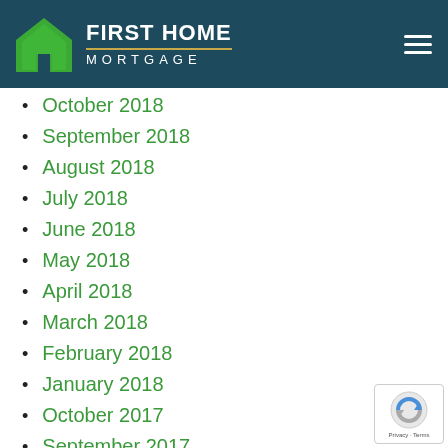[Figure (logo): First Home Mortgage logo with green house icon, white text FIRST HOME MORTGAGE on dark teal header background, hamburger menu icon on right]
October 2018
September 2018
August 2018
July 2018
June 2018
May 2018
April 2018
March 2018
February 2018
January 2018
October 2017
September 2017
August 2017